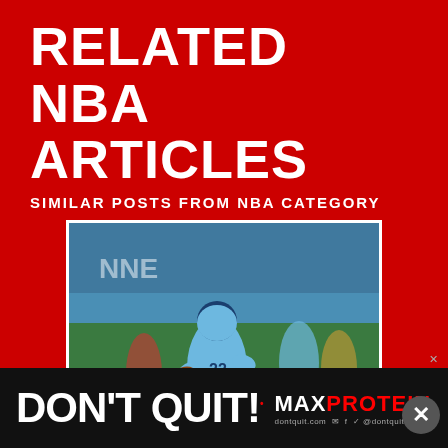RELATED NBA ARTICLES
SIMILAR POSTS FROM NBA CATEGORY
[Figure (photo): NFL football player wearing light blue Tennessee Titans jersey number 22, running with the ball during a game]
NFL DFS: Cash Game Plays for Week 14
December 13, 2020
[Figure (other): Advertisement banner: DON'T QUIT! MAX PROTEIN brand ad with close button]